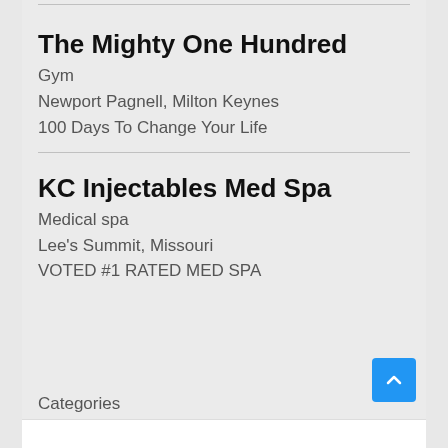The Mighty One Hundred
Gym
Newport Pagnell, Milton Keynes
100 Days To Change Your Life
KC Injectables Med Spa
Medical spa
Lee's Summit, Missouri
VOTED #1 RATED MED SPA
Categories